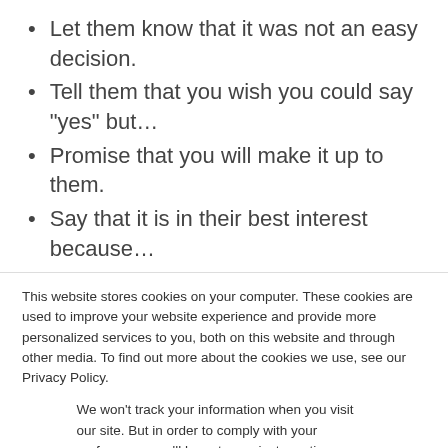Let them know that it was not an easy decision.
Tell them that you wish you could say “yes” but…
Promise that you will make it up to them.
Say that it is in their best interest because…
Saying YES can also be difficult. Although you want to spend time on higher-level priorities, they often take courage, require more energy, and can be intimidating. Instead of putting the effort in, you
This website stores cookies on your computer. These cookies are used to improve your website experience and provide more personalized services to you, both on this website and through other media. To find out more about the cookies we use, see our Privacy Policy.
We won’t track your information when you visit our site. But in order to comply with your preferences, we’ll have to use just one tiny cookie so that you’re not asked to make this choice again.